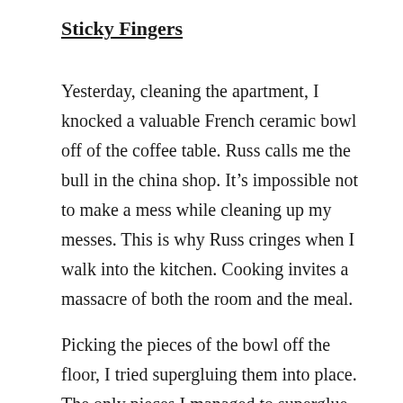Sticky Fingers
Yesterday, cleaning the apartment, I knocked a valuable French ceramic bowl off of the coffee table. Russ calls me the bull in the china shop. It’s impossible not to make a mess while cleaning up my messes. This is why Russ cringes when I walk into the kitchen. Cooking invites a massacre of both the room and the meal.
Picking the pieces of the bowl off the floor, I tried supergluing them into place. The only pieces I managed to superglue together were my two fingers on the same hand. I’m still picking the stiff edges of clear adhesive like nail polish from my legs in the shower.
Connoisseurs